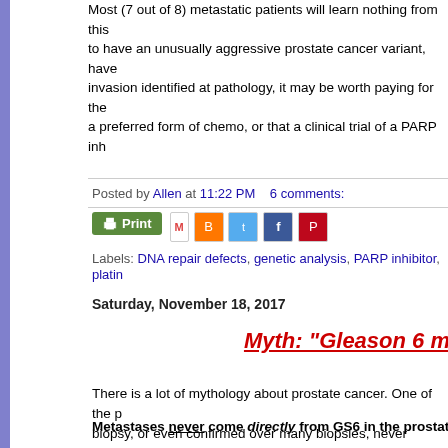Most (7 out of 8) metastatic patients will learn nothing from this to have an unusually aggressive prostate cancer variant, have invasion identified at pathology, it may be worth paying for the a preferred form of chemo, or that a clinical trial of a PARP inh
Posted by Allen at 11:22 PM  6 comments:
Labels: DNA repair defects, genetic analysis, PARP inhibitor, platin
Saturday, November 18, 2017
Myth: "Gleason 6 m
There is a lot of mythology about prostate cancer. One of the p biopsy, or even confirmed over many biopsies, never progresse know it so far?
Metastases never come directly from GS6 in the prostate (t
This is true. Donin et al. at NYU Langone looked at the records of them were found to have a significant recurrence and were t the treated patients had no further recurrence, indicating that th